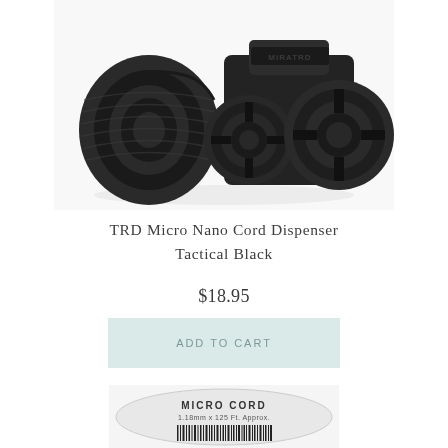[Figure (photo): Close-up photo of a TRD Micro Nano Cord Dispenser in Tactical Black — a black spool/reel device with MIRATRD branding, shown with coiled black cord alongside.]
TRD Micro Nano Cord Dispenser Tactical Black
$18.95
ADD TO CART
[Figure (photo): Bottom portion of a product label showing MICRO CORD text, barcode, and partial text reading 1.18mm x 125 Ft. Approx.]